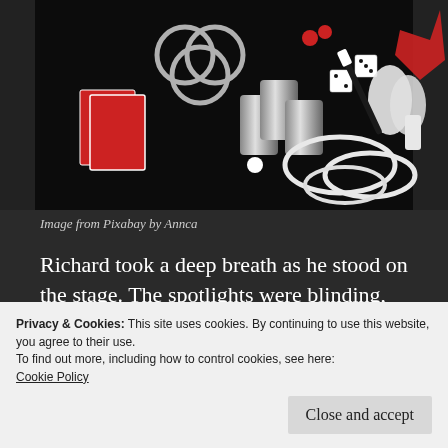[Figure (photo): A dark background with various magic props laid out: silver rings, playing cards, cups, dice, a magic wand, white gloves, white rope/rings, a red cloth, and other magic accessories.]
Image from Pixabay by Annca
Richard took a deep breath as he stood on the stage. The spotlights were blinding, and he could barely see the audience. Today was the day he had been preparing for days.
Privacy & Cookies: This site uses cookies. By continuing to use this website, you agree to their use.
To find out more, including how to control cookies, see here:
Cookie Policy